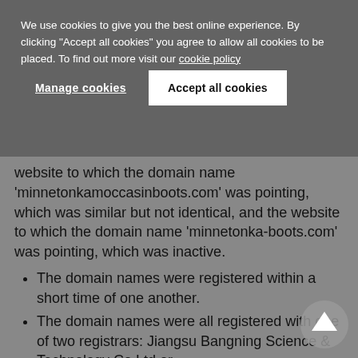We use cookies to give you the best online experience. By clicking "Accept all cookies" you agree to allow all cookies to be placed. To find out more visit our cookie policy
Manage cookies
Accept all cookies
website to which the domain name 'minnetonkamoccasinboots.com' was pointing, which was similar but not identical, and the website to which the domain name 'minnetonka-boots.com' was pointing, which was inactive.
The domain names were registered within a short time of one another.
The domain names were all registered with one of two registrars: Jiangsu Bangning Science & Technology Co Ltd or